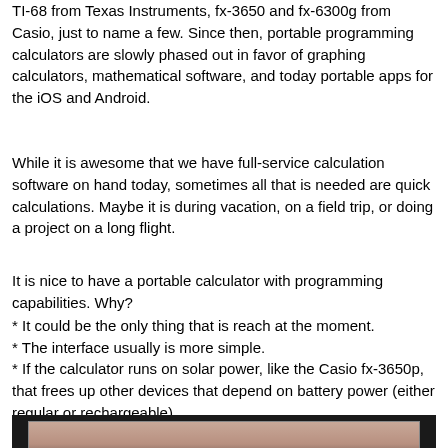TI-68 from Texas Instruments, fx-3650 and fx-6300g from Casio, just to name a few. Since then, portable programming calculators are slowly phased out in favor of graphing calculators, mathematical software, and today portable apps for the iOS and Android.
While it is awesome that we have full-service calculation software on hand today, sometimes all that is needed are quick calculations. Maybe it is during vacation, on a field trip, or doing a project on a long flight.
It is nice to have a portable calculator with programming capabilities. Why?
* It could be the only thing that is reach at the moment.
* The interface usually is more simple.
* If the calculator runs on solar power, like the Casio fx-3650p, that frees up other devices that depend on battery power (either regular or rechargeable).
[Figure (photo): A photograph of a calculator or related device, partially visible at the bottom of the page, shown with a dark background frame.]